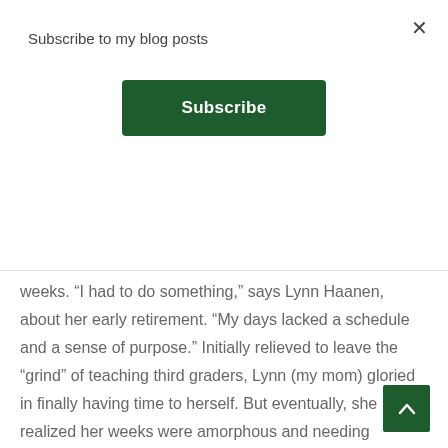Subscribe to my blog posts
Subscribe
weeks. “I had to do something,” says Lynn Haanen, about her early retirement. “My days lacked a schedule and a sense of purpose.” Initially relieved to leave the “grind” of teaching third graders, Lynn (my mom) gloried in finally having time to herself. But eventually, she realized her weeks were amorphous and needing structure.
Her life in retirement had traded the stopwatch for the lava lamp, with hours